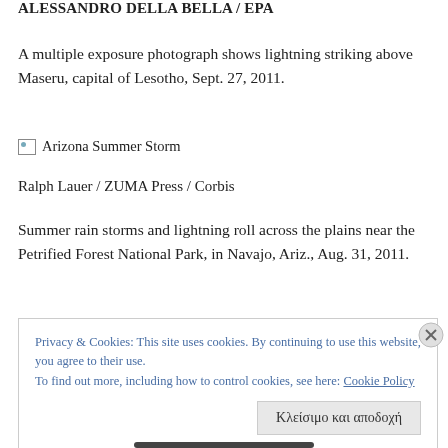ALESSANDRO DELLA BELLA / EPA
A multiple exposure photograph shows lightning striking above Maseru, capital of Lesotho, Sept. 27, 2011.
[Figure (photo): Arizona Summer Storm (broken image placeholder)]
Ralph Lauer / ZUMA Press / Corbis
Summer rain storms and lightning roll across the plains near the Petrified Forest National Park, in Navajo, Ariz., Aug. 31, 2011.
Privacy & Cookies: This site uses cookies. By continuing to use this website, you agree to their use.
To find out more, including how to control cookies, see here: Cookie Policy